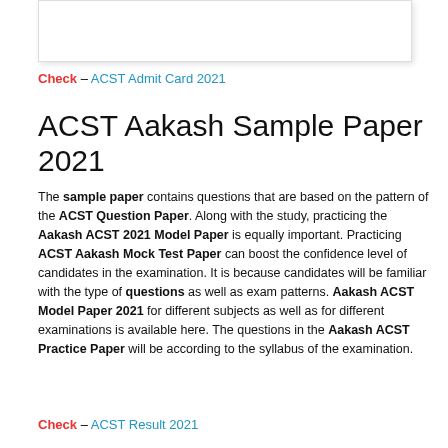[Figure (other): White box/image placeholder at top of page]
Check – ACST Admit Card 2021
ACST Aakash Sample Paper 2021
The sample paper contains questions that are based on the pattern of the ACST Question Paper. Along with the study, practicing the Aakash ACST 2021 Model Paper is equally important. Practicing ACST Aakash Mock Test Paper can boost the confidence level of candidates in the examination. It is because candidates will be familiar with the type of questions as well as exam patterns. Aakash ACST Model Paper 2021 for different subjects as well as for different examinations is available here. The questions in the Aakash ACST Practice Paper will be according to the syllabus of the examination.
Check – ACST Result 2021